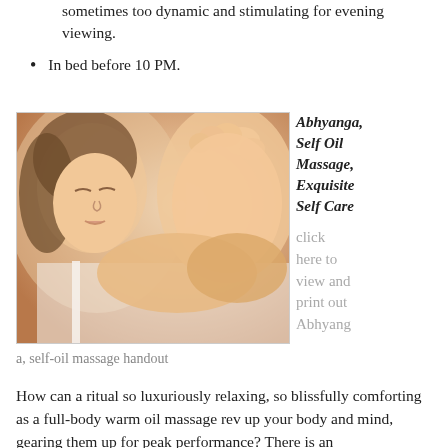sometimes too dynamic and stimulating for evening viewing.
In bed before 10 PM.
[Figure (photo): Woman performing self oil massage on her foot, holding it with both hands, eyes closed, wearing a white top.]
Abhyanga, Self Oil Massage, Exquisite Self Care
click here to view and print out Abhyanga, self-oil massage handout
How can a ritual so luxuriously relaxing, so blissfully comforting as a full-body warm oil massage rev up your body and mind, gearing them up for peak performance? There is an